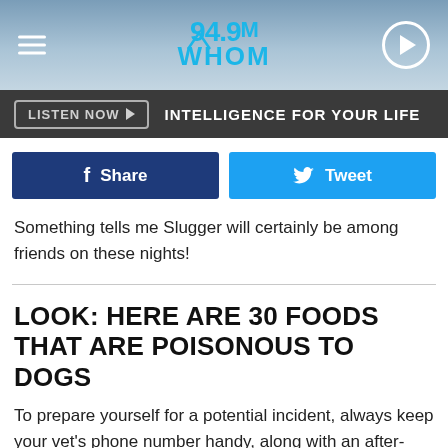[Figure (logo): 94.9 WHOM radio station logo with mountain graphic, on a light blue gradient background with hamburger menu icon on the left and a circular play button on the right]
LISTEN NOW ▶   INTELLIGENCE FOR YOUR LIFE
[Figure (other): Facebook Share button (dark blue) and Twitter Tweet button (light blue)]
Something tells me Slugger will certainly be among friends on these nights!
LOOK: HERE ARE 30 FOODS THAT ARE POISONOUS TO DOGS
To prepare yourself for a potential incident, always keep your vet's phone number handy, along with an after-hours clinic you can call in an emergency. The ASPCA Animal Poison Control Center also has a hotline you can call at (888) 426-4435 for advice.